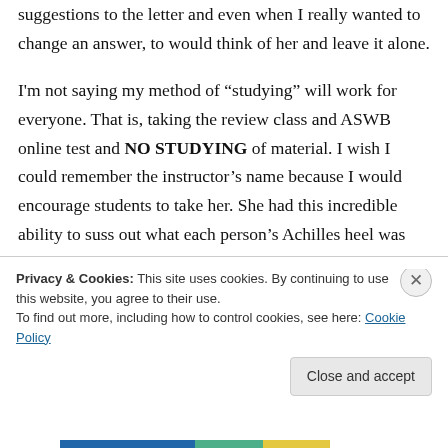suggestions to the letter and even when I really wanted to change an answer, to would think of her and leave it alone.
I'm not saying my method of “studying” will work for everyone. That is, taking the review class and ASWB online test and NO STUDYING of material. I wish I could remember the instructor’s name because I would encourage students to take her. She had this incredible ability to suss out what each person’s Achilles heel was when it
Privacy & Cookies: This site uses cookies. By continuing to use this website, you agree to their use.
To find out more, including how to control cookies, see here: Cookie Policy